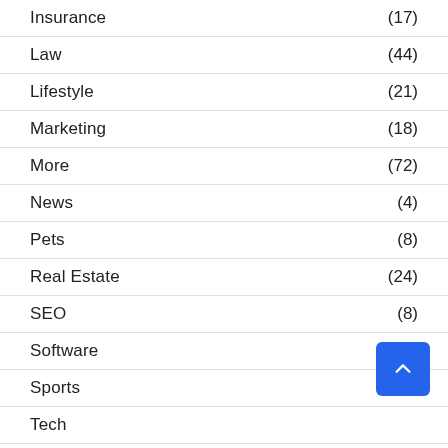Insurance (17)
Law (44)
Lifestyle (21)
Marketing (18)
More (72)
News (4)
Pets (8)
Real Estate (24)
SEO (8)
Software (4)
Sports (3)
Tech
Trading (25)
Travel (36)